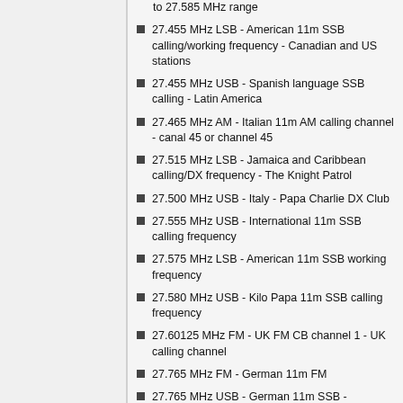to 27.585 MHz range
27.455 MHz LSB - American 11m SSB calling/working frequency - Canadian and US stations
27.455 MHz USB - Spanish language SSB calling - Latin America
27.465 MHz AM - Italian 11m AM calling channel - canal 45 or channel 45
27.515 MHz LSB - Jamaica and Caribbean calling/DX frequency - The Knight Patrol
27.500 MHz USB - Italy - Papa Charlie DX Club
27.555 MHz USB - International 11m SSB calling frequency
27.575 MHz LSB - American 11m SSB working frequency
27.580 MHz USB - Kilo Papa 11m SSB calling frequency
27.60125 MHz FM - UK FM CB channel 1 - UK calling channel
27.765 MHz FM - German 11m FM
27.765 MHz USB - German 11m SSB - "Deutsche Welle"
27.60125 MHz FM - UK FM CB channel 1 - (partial, cut off at bottom)